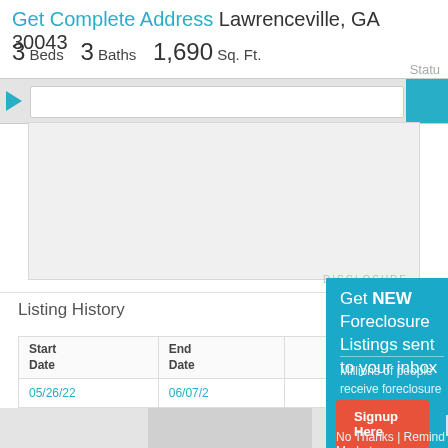Get Complete Address Lawrenceville, GA 30043
3 Beds   3 Baths   1,690 Sq. Ft.
Status
[Figure (screenshot): Navigation bar with blue arrow and search field]
[Figure (screenshot): White/gray map or content placeholder area]
DISCLOSURE
Listing History
| Start
Date | End
Date |
| --- | --- |
| 05/26/22 | 06/07/2... |
| 05/11/22 | 07/05/2... |
Get NEW Foreclosure Listings sent to your inbox
Millions of people receive foreclosure alerts daily, don't miss out.
Signup Here
No Thanks | Remind Me Later